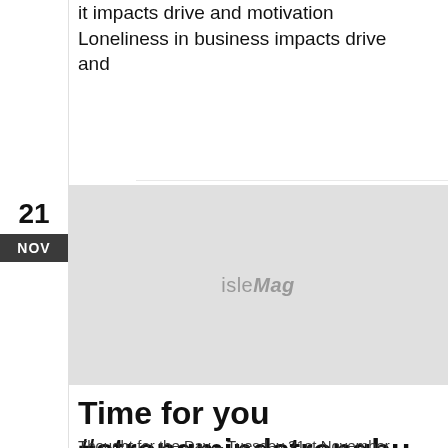it impacts drive and motivation  Loneliness in business impacts drive and
[Figure (other): Gray image placeholder with isleMag watermark text]
Time for you #strongmindstrongbu
Thought for the Day – Tuesday 21st November The for you for the thought by at to the